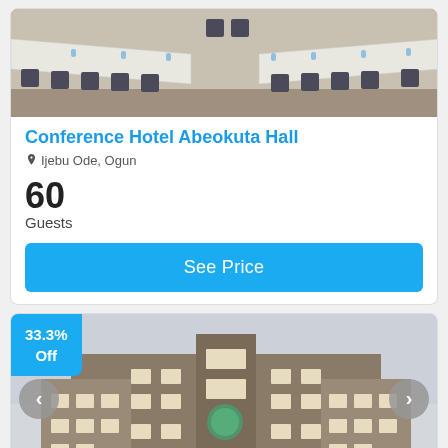[Figure (photo): Conference room with long white-covered tables arranged in a U-shape, black chairs, and water bottles. Top portion of card 1.]
Conference Hotel Abeokuta Hall
Ijebu Ode, Ogun
60
Guests
See Price
33.3% Off
[Figure (photo): Exterior photo of a multi-storey hotel building with windows and a logo sign. Navigation arrows on left and right sides of image.]